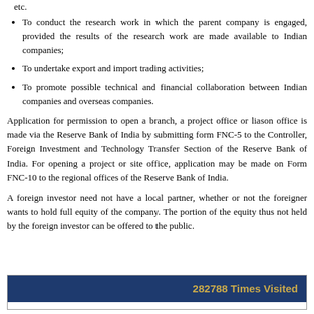etc.
To conduct the research work in which the parent company is engaged, provided the results of the research work are made available to Indian companies;
To undertake export and import trading activities;
To promote possible technical and financial collaboration between Indian companies and overseas companies.
Application for permission to open a branch, a project office or liason office is made via the Reserve Bank of India by submitting form FNC-5 to the Controller, Foreign Investment and Technology Transfer Section of the Reserve Bank of India. For opening a project or site office, application may be made on Form FNC-10 to the regional offices of the Reserve Bank of India.
A foreign investor need not have a local partner, whether or not the foreigner wants to hold full equity of the company. The portion of the equity thus not held by the foreign investor can be offered to the public.
282788 Times Visited